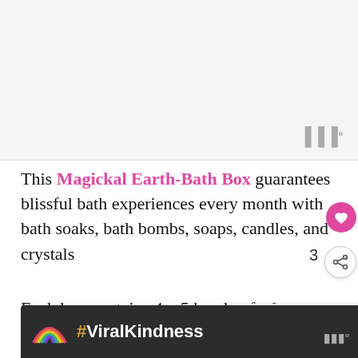[Figure (other): Top light gray banner/header area with a stylized triple-W mailchimp-like icon in the top right]
This Magickal Earth-Bath Box guarantees blissful bath experiences every month with bath soaks, bath bombs, soaps, candles, and crystals
Each box contains 4 – 5 handcrafted, vegan, and cruelty-free products including a crystal... the month's energy.
[Figure (other): Bottom advertisement bar with dark background showing a rainbow illustration and text #ViralKindness]